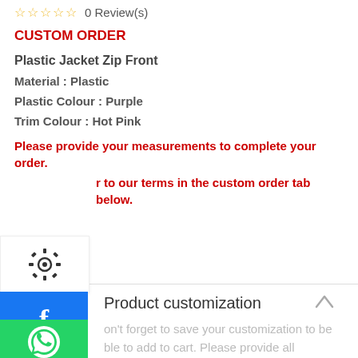☆ ☆ ☆ ☆ ☆  0 Review(s)
CUSTOM ORDER
Plastic Jacket Zip Front
Material : Plastic
Plastic Colour : Purple
Trim Colour : Hot Pink
Please provide your measurements to complete your order.
r to our terms in the custom order tab below.
[Figure (other): Settings gear icon in a white box on the left side]
[Figure (other): Facebook icon (letter f on blue background) on the left side]
[Figure (other): WhatsApp icon (phone in circle on green background) on the left side]
Product customization
Don't forget to save your customization to be able to add to cart. Please provide all measurements in inches.